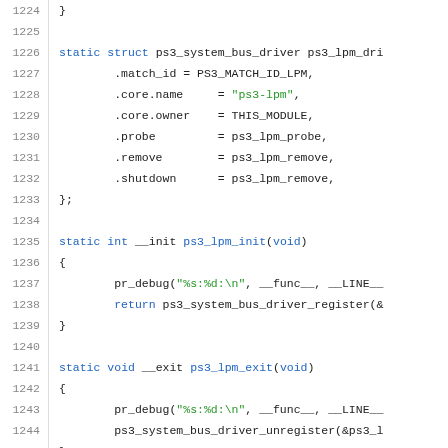[Figure (screenshot): Source code listing showing C code for ps3_lpm driver, lines 1224-1245, with syntax highlighting. Shows struct initialization and two static functions: ps3_lpm_init and ps3_lpm_exit.]